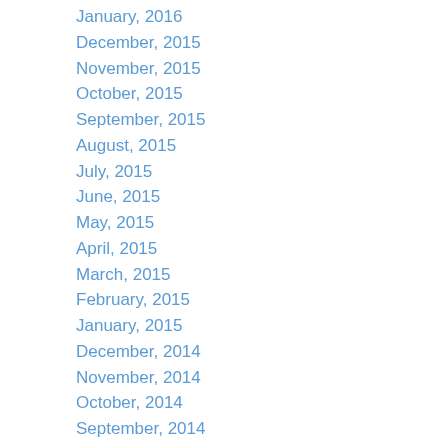January, 2016
December, 2015
November, 2015
October, 2015
September, 2015
August, 2015
July, 2015
June, 2015
May, 2015
April, 2015
March, 2015
February, 2015
January, 2015
December, 2014
November, 2014
October, 2014
September, 2014
August, 2014
July, 2014
June, 2014
May, 2014
April, 2014
March, 2014